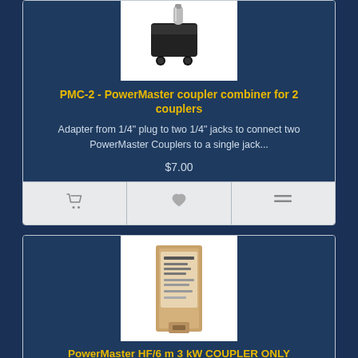[Figure (photo): Photo of PMC-2 audio adapter plug with 1/4 inch plug and two 1/4 inch jacks, black body with metal plug]
PMC-2 - PowerMaster coupler combiner for 2 couplers
Adapter from 1/4" plug to two 1/4" jacks to connect two PowerMaster Couplers to a single jack...
$7.00
[Figure (photo): Photo of PowerMaster HF/6m 3kW coupler in box packaging]
PowerMaster HF/6 m 3 kW COUPLER ONLY
PowerMaster Coupler for HF and 6 meters band, 3 kW rating. SO-239 connectors. Includes cable (1/4" ..